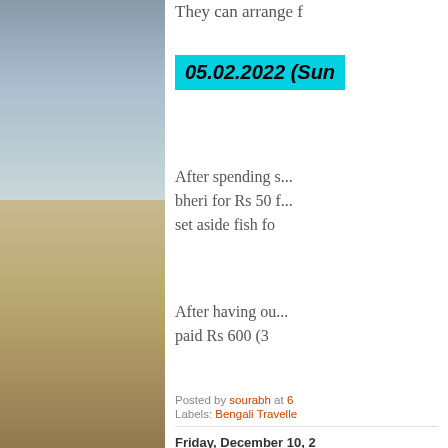[Figure (photo): Outdoor landscape photo showing sky and sandy/earthy ground, appears to be a coastal or open terrain scene with overcast sky]
They can arrange f
05.02.2022 (Sun
After spending s... bheri for Rs 50 f... set aside fish fo
After having ou... paid Rs 600 (3
Posted by sourabh at 6
Labels: Bengali Travelle
Friday, December 10, 2
Hornbill fest